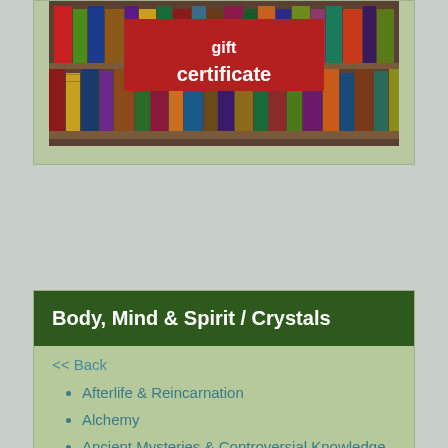[Figure (photo): Bookshelf with colorful book spines and a red banner reading 'gift certificate' overlaid on the image]
Body, Mind & Spirit / Crystals
<< Back
Afterlife & Reincarnation
Alchemy
Ancient Mysteries & Controversial Knowledge
Angels & Spirit Guides
Astrology
Ayurveda
Celtic Spirituality
Channeling & Mediumship
Crystals
Divination